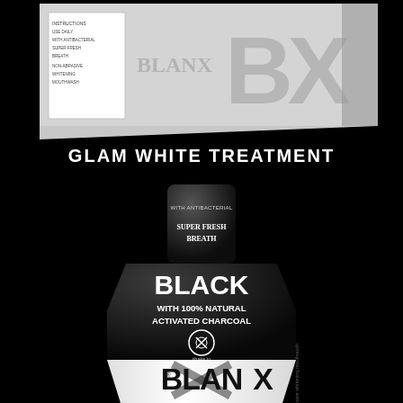[Figure (photo): Product packaging box for BlanX Glam White Treatment, grey and white box partially visible at top of image against black background]
GLAM WHITE TREATMENT
[Figure (photo): BlanX Black mouthwash bottle with white lower body and dark upper body, featuring text: WITH ANTIBACTERIAL, SUPER FRESH BREATH, BLACK WITH 100% NATURAL ACTIVATED CHARCOAL, shake to activate, BlanX logo, non-abrasive whitening mouthwash]